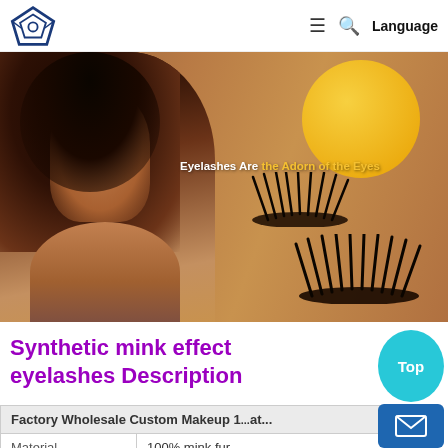Navigation bar with logo, hamburger menu, search icon, and Language link
[Figure (photo): Hero banner showing a woman with dark hair and dramatic eye makeup on a tan/brown background, with a yellow circle shape and two mink eyelash product images. Text overlay reads: Eyelashes Are the Adorn of the Eyes]
Synthetic mink effect eyelashes Description
| Factory Wholesale Custom Makeup 1... at... |
| --- |
| Material | 100% mink fur |